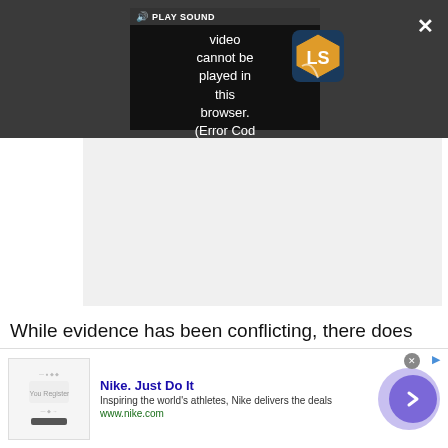[Figure (screenshot): Video player overlay showing error message 'Video cannot be played in this browser. (Error Cod' with PLAY SOUND label and LS logo, on dark gray background with X close button and expand arrows]
While evidence has been conflicting, there does not seem to be a strong reason to keep a pet out of the
[Figure (screenshot): Nike advertisement banner: 'Nike. Just Do It' with description 'Inspiring the world's athletes, Nike delivers the deals' and URL www.nike.com, with purple circular arrow button on right]